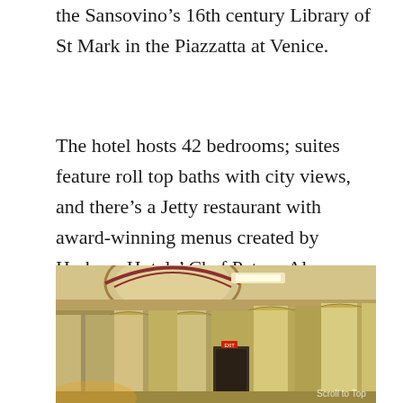the Sansovino’s 16th century Library of St Mark in the Piazzatta at Venice.
The hotel hosts 42 bedrooms; suites feature roll top baths with city views, and there’s a Jetty restaurant with award-winning menus created by Harbour Hotels’ Chef Patron Alex Aitken. The former basement bank vaults are being transformed into an indulgent Harbour Spa, opening spring 2017.
[Figure (photo): Interior of a grand neoclassical building with tall Corinthian columns, ornate arched ceiling with decorative painting, and warm lighting. Appears to be the interior of a converted bank building, now a hotel.]